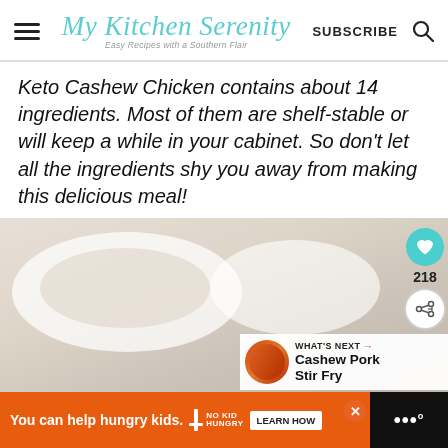My Kitchen Serenity — Easy Recipes with a Southern Flair | SUBSCRIBE
Keto Cashew Chicken contains about 14 ingredients. Most of them are shelf-stable or will keep a while in your cabinet. So don't let all the ingredients shy you away from making this delicious meal!
[Figure (photo): Food photo showing bowls of Keto Cashew Chicken dish with a 'What's Next: Cashew Pork Stir Fry' overlay widget and social sharing buttons (heart icon with 218 count, share icon)]
You can help hungry kids. NO KID HUNGRY LEARN HOW